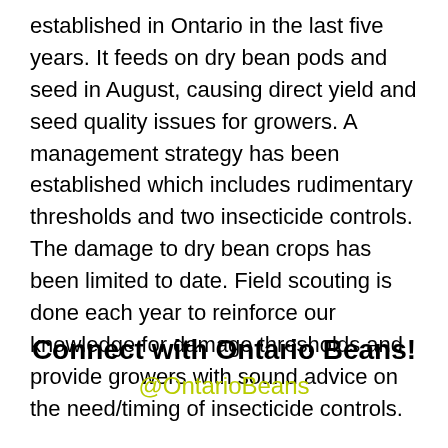established in Ontario in the last five years. It feeds on dry bean pods and seed in August, causing direct yield and seed quality issues for growers. A management strategy has been established which includes rudimentary thresholds and two insecticide controls. The damage to dry bean crops has been limited to date. Field scouting is done each year to reinforce our knowledge for damage thresholds and provide growers with sound advice on the need/timing of insecticide controls.
Connect with Ontario Beans!
@OntarioBeans